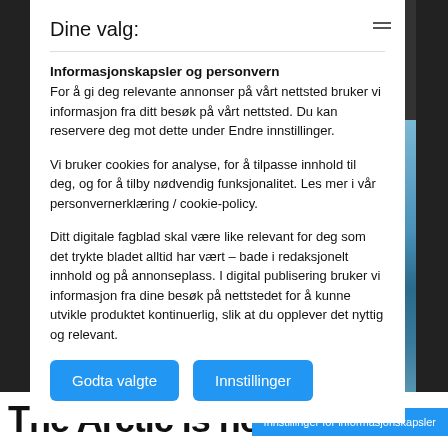Dine valg:
Informasjonskapsler og personvern
For å gi deg relevante annonser på vårt nettsted bruker vi informasjon fra ditt besøk på vårt nettsted. Du kan reservere deg mot dette under Endre innstillinger.
Vi bruker cookies for analyse, for å tilpasse innhold til deg, og for å tilby nødvendig funksjonalitet. Les mer i vår personvernerklæring / cookie-policy.
Ditt digitale fagblad skal være like relevant for deg som det trykte bladet alltid har vært – bade i redaksjonelt innhold og på annonseplass. I digital publisering bruker vi informasjon fra dine besøk på nettstedet for å kunne utvikle produktet kontinuerlig, slik at du opplever det nyttig og relevant.
Godta valgte | Innstillinger
The Arctic is heat
Innstillinger for informasjonskapsler